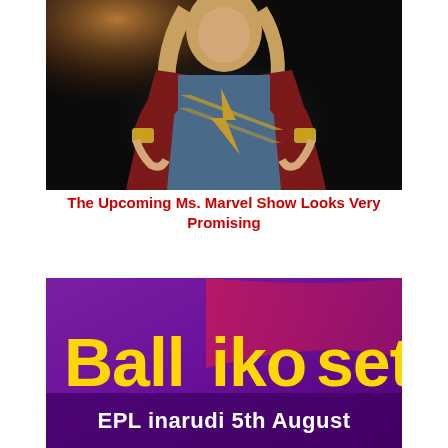[Figure (photo): A costumed superhero figure (Ms. Marvel) in a blue and dark red suit with gold accents, posed confidently against a dark background with dramatic lighting.]
The Upcoming Ms. Marvel Show Looks Very Promising
[Figure (photo): A promotional banner with purple/magenta gradient background. Large yellow bold text reads 'Ball iko set' and white text below reads 'EPL inarudi 5th August'.]